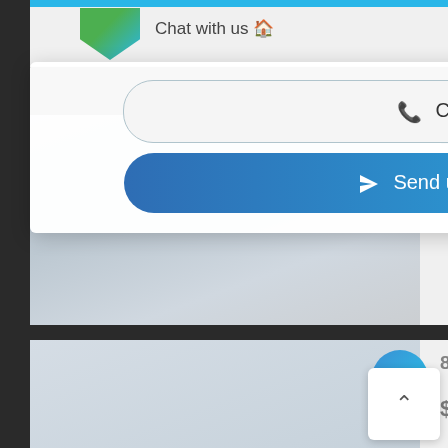Chat with us 🏠
📞 Contact us
✈ Send us a message
Listings for Sale
[Figure (photo): House exterior photo, faded/semi-transparent, 18700 NW 12th St listing]
18700 NW 12th St, Pembroke Pines FL...
$ 625,000
[Figure (photo): House exterior photo, faded/semi-transparent, 8410 NW 11th St listing]
8410 NW 11th St, Pembroke Pines FL...
$ 429,000